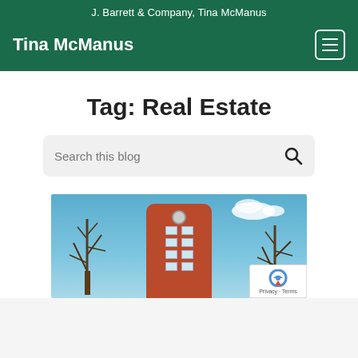J. Barrett & Company, Tina McManus
Tina McManus
Tag: Real Estate
Search this blog
[Figure (photo): Exterior photo of a multi-story red brick apartment building with blue sky and bare trees in the foreground]